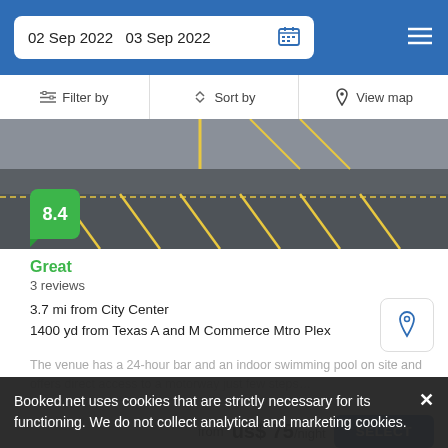02 Sep 2022   03 Sep 2022
Filter by   Sort by   View map
[Figure (photo): Aerial view of hotel parking lot with yellow lines on asphalt, with a green score badge showing 8.4]
Great
3 reviews
3.7 mi from City Center
1400 yd from Texas A and M Commerce Mtro Plex
The venue has a 24-hour bar and an indoor swimming pool on site and offers direct access to a motorway just few steps…
from  us$ 75/night
SELECT
Booked.net uses cookies that are strictly necessary for its functioning. We do not collect analytical and marketing cookies.